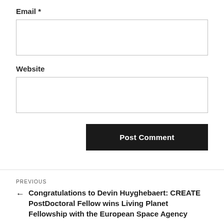Email *
Website
Post Comment
PREVIOUS
← Congratulations to Devin Huyghebaert: CREATE PostDoctoral Fellow wins Living Planet Fellowship with the European Space Agency